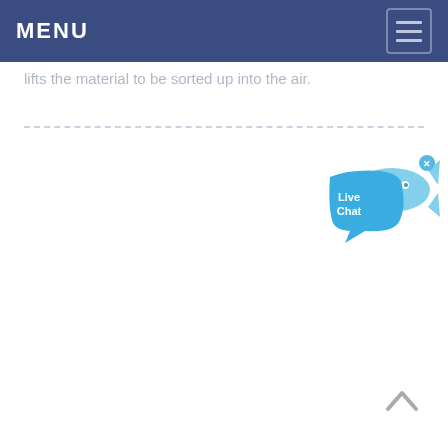MENU
lifts the material to be sorted up into the air.
[Figure (illustration): Live Chat widget with speech bubble icon and close button in top-right corner]
[Figure (illustration): Back to top caret/arrow button at bottom right]